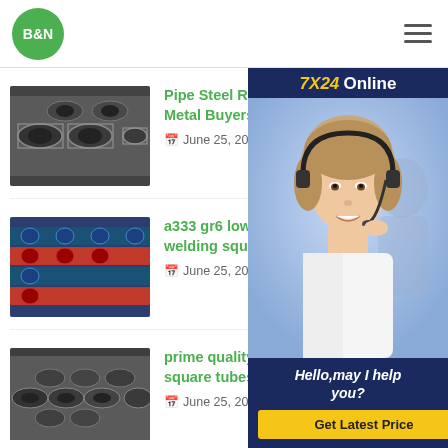B&N
[Figure (screenshot): 7X24 Online customer service sidebar with photo of woman with headset and 'Hello, may I help you?' and 'Get Latest Price' button]
[Figure (photo): Steel pipes thumbnail image 1]
Pipe Steel Recycling Metal Buyers I Buy Se
June 25, 2021
[Figure (photo): Colored steel pipes thumbnail image 2]
a333 gr6 low temperature welding square tube
June 25, 2021
[Figure (photo): Steel pipes thumbnail image 3]
prime quality welded steel pipe square tubes supplier
June 25, 2021